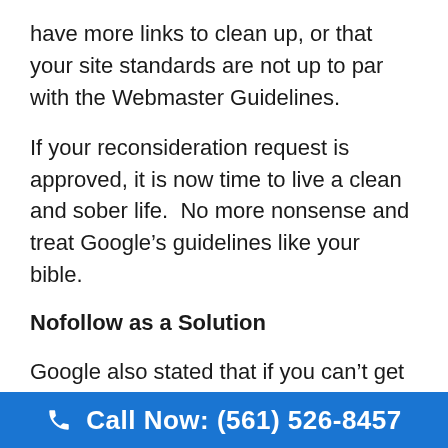have more links to clean up, or that your site standards are not up to par with the Webmaster Guidelines.
If your reconsideration request is approved, it is now time to live a clean and sober life.  No more nonsense and treat Google’s guidelines like your bible.
Nofollow as a Solution
Google also stated that if you can’t get the link removed, it is OK to add the nofollow attribute to the hypertext reference.
☎ Call Now: (561) 526-8457